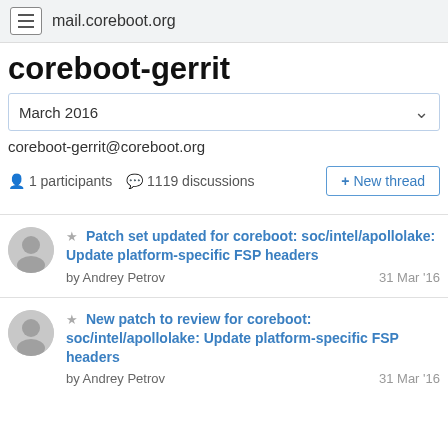mail.coreboot.org
coreboot-gerrit
March 2016
coreboot-gerrit@coreboot.org
1 participants  1119 discussions
Patch set updated for coreboot: soc/intel/apollolake: Update platform-specific FSP headers
by Andrey Petrov  31 Mar '16
New patch to review for coreboot: soc/intel/apollolake: Update platform-specific FSP headers
by Andrey Petrov  31 Mar '16